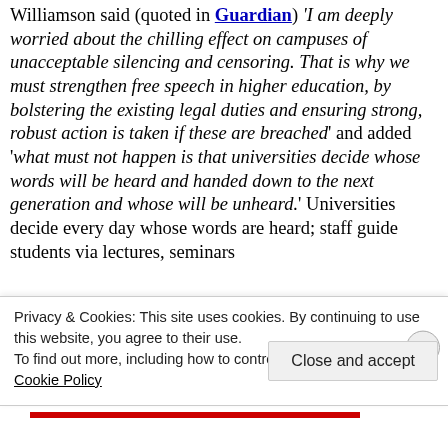Williamson said (quoted in Guardian) 'I am deeply worried about the chilling effect on campuses of unacceptable silencing and censoring. That is why we must strengthen free speech in higher education, by bolstering the existing legal duties and ensuring strong, robust action is taken if these are breached' and added 'what must not happen is that universities decide whose words will be heard and handed down to the next generation and whose will be unheard.' Universities decide every day whose words are heard; staff guide students via lectures, seminars
Privacy & Cookies: This site uses cookies. By continuing to use this website, you agree to their use. To find out more, including how to control cookies, see here: Cookie Policy
Close and accept